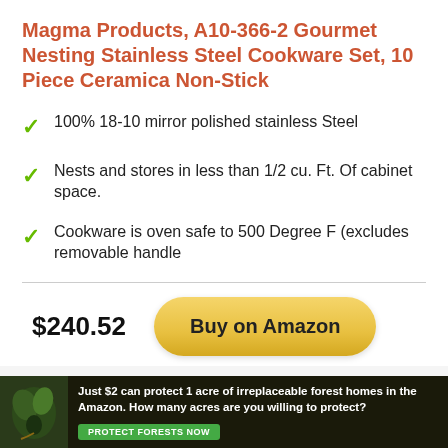Magma Products, A10-366-2 Gourmet Nesting Stainless Steel Cookware Set, 10 Piece Ceramica Non-Stick
100% 18-10 mirror polished stainless Steel
Nests and stores in less than 1/2 cu. Ft. Of cabinet space.
Cookware is oven safe to 500 Degree F (excludes removable handle
$240.52
Buy on Amazon
Just $2 can protect 1 acre of irreplaceable forest homes in the Amazon. How many acres are you willing to protect?
PROTECT FORESTS NOW